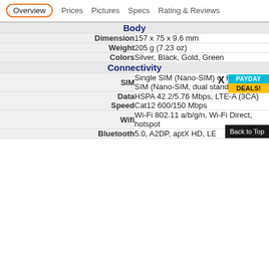Overview | Prices | Pictures | Specs | Rating & Reviews
| Label | Value |
| --- | --- |
| Body |  |
| Dimension | 157 x 75 x 9.6 mm |
| Weight | 205 g (7.23 oz) |
| Colors | Silver, Black, Gold, Green |
| Connectivity |  |
| SIM | Single SIM (Nano-SIM) or Hybrid Dual SIM (Nano-SIM, dual stand-by) |
| Data Speed | HSPA 42.2/5.76 Mbps, LTE-A (3CA) Cat12 600/150 Mbps |
| Wifi | Wi-Fi 802.11 a/b/g/n, Wi-Fi Direct, hotspot |
| Bluetooth | 5.0, A2DP, aptX HD, LE |